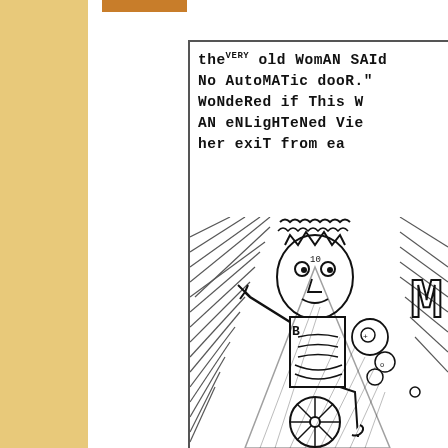[Figure (illustration): A comic/graphic novel page spread showing hand-drawn illustration with text. The left portion has a tan/gold colored bar. The right panel contains hand-lettered text reading 'the VERY old Woman SAID NO AUTOMATIC door. wondered if This AN ENLIGHTENED VIE her exit from ea' (text partially cut off), above a hand-drawn illustration of a figure (appearing to be a person in a wheelchair or similar) with crown-like head, surrounded by hatching lines and decorative details.]